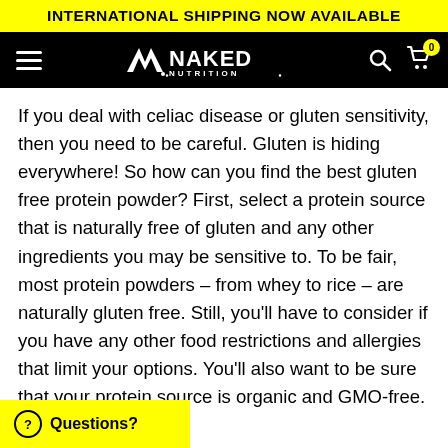INTERNATIONAL SHIPPING NOW AVAILABLE
[Figure (logo): Naked Nutrition logo with hamburger menu, search icon, and cart icon on black navigation bar]
If you deal with celiac disease or gluten sensitivity, then you need to be careful. Gluten is hiding everywhere! So how can you find the best gluten free protein powder? First, select a protein source that is naturally free of gluten and any other ingredients you may be sensitive to. To be fair, most protein powders – from whey to rice – are naturally gluten free. Still, you'll have to consider if you have any other food restrictions and allergies that limit your options. You'll also want to be sure that your protein source is organic and GMO-free. This will limit the amount of other potential irritants and nutritional troublemakers that are in your protein powder. Finally, check the label to be sure that no gluten has been added to your protein. This can be tricky since most protein powders have incredibly long lists of ingredients and